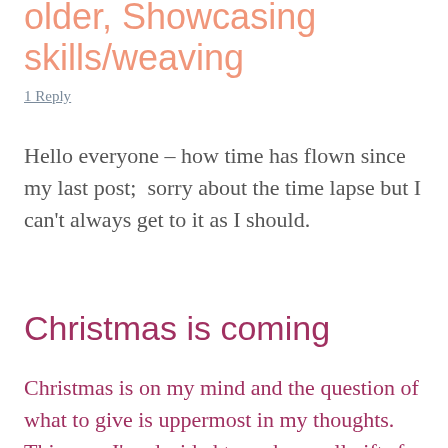older, Showcasing skills/weaving
1 Reply
Hello everyone – how time has flown since my last post;  sorry about the time lapse but I can't always get to it as I should.
Christmas is coming
Christmas is on my mind and the question of what to give is uppermost in my thoughts. This year I've decided to make small gifts for each member of the family, well with the exception of one which is a large blanket for number two